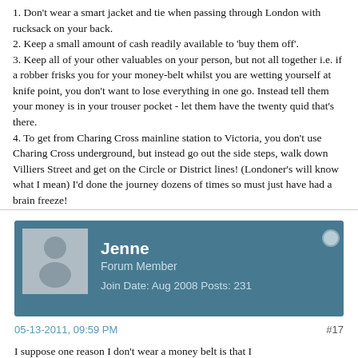1. Don't wear a smart jacket and tie when passing through London with rucksack on your back.
2. Keep a small amount of cash readily available to 'buy them off'.
3. Keep all of your other valuables on your person, but not all together i.e. if a robber frisks you for your money-belt whilst you are wetting yourself at knife point, you don't want to lose everything in one go. Instead tell them your money is in your trouser pocket - let them have the twenty quid that's there.
4. To get from Charing Cross mainline station to Victoria, you don't use Charing Cross underground, but instead go out the side steps, walk down Villiers Street and get on the Circle or District lines! (Londoner's will know what I mean) I'd done the journey dozens of times so must just have had a brain freeze!
[Figure (other): Forum user profile bar showing avatar placeholder, username Jenne, Forum Member, Join Date: Aug 2008, Posts: 231, with online status indicator]
05-13-2011, 09:59 PM
#17
I suppose one reason I don't wear a money belt is that I